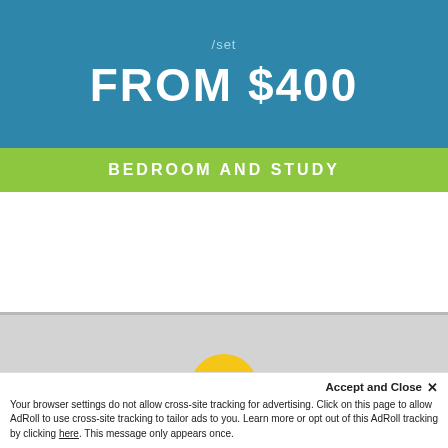/set
FROM $400
BEDROOM AND STUDY
[Figure (other): White empty content area placeholder]
[Figure (other): Gray banner section placeholder]
[Figure (other): Yellow circle with white star icon, overlapping blue bottom banner]
BED BOX QUEEN-SI...SS
Accept and Close ×
Your browser settings do not allow cross-site tracking for advertising. Click on this page to allow AdRoll to use cross-site tracking to tailor ads to you. Learn more or opt out of this AdRoll tracking by clicking here. This message only appears once.